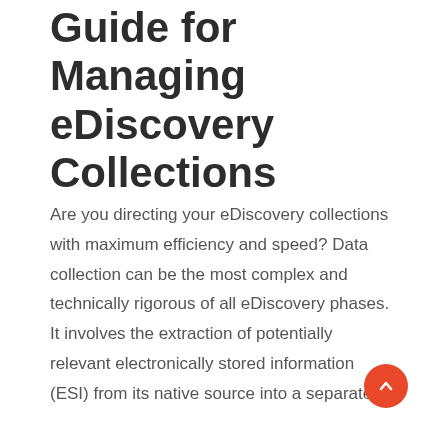Guide for Managing eDiscovery Collections
Are you directing your eDiscovery collections with maximum efficiency and speed? Data collection can be the most complex and technically rigorous of all eDiscovery phases. It involves the extraction of potentially relevant electronically stored information (ESI) from its native source into a separate,